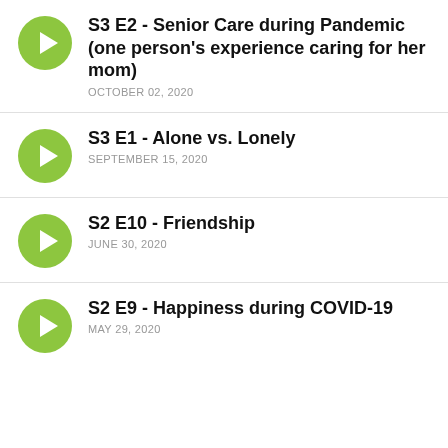S3 E2 - Senior Care during Pandemic (one person's experience caring for her mom)
OCTOBER 02, 2020
S3 E1 - Alone vs. Lonely
SEPTEMBER 15, 2020
S2 E10 - Friendship
JUNE 30, 2020
S2 E9 - Happiness during COVID-19
MAY 29, 2020